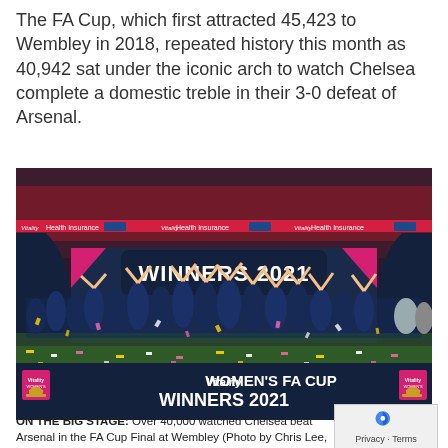The FA Cup, which first attracted 45,423 to Wembley in 2018, repeated history this month as 40,942 sat under the iconic arch to watch Chelsea complete a domestic treble in their 3-0 defeat of Arsenal.
[Figure (photo): Chelsea Women's team celebrating on stage at Wembley with a 'WINNERS 2021' banner and 'Vitality Women's FA Cup Winners 2021' branding, surrounded by confetti, with a full stadium in the background.]
ON THE BIG STAGE: Over 40,000 watched Chelsea beat Arsenal in the FA Cup Final at Wembley (Photo by Chris Lee,